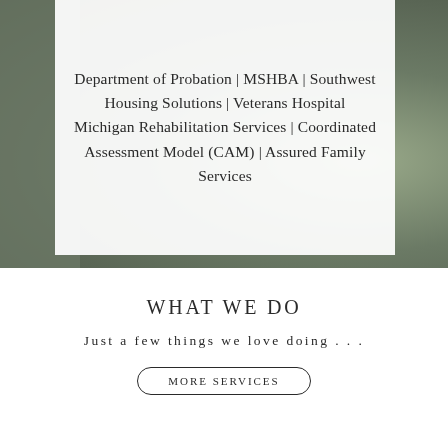[Figure (photo): Blurred outdoor photograph with greenish-grey tones, partially covered by a white box containing text listing partner organizations.]
Department of Probation | MSHBA | Southwest Housing Solutions | Veterans Hospital Michigan Rehabilitation Services | Coordinated Assessment Model (CAM) | Assured Family Services
WHAT WE DO
Just a few things we love doing . . .
MORE SERVICES